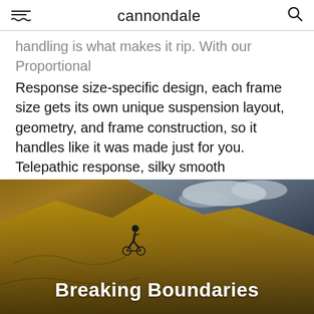cannondale
handling is what makes it rip. With our Proportional Response size-specific design, each frame size gets its own unique suspension layout, geometry, and frame construction, so it handles like it was made just for you. Telepathic response, silky smooth suspension, and endless grip - the way it should be.
[Figure (photo): A mountain biker riding along the edge of a rocky ridge with dramatic sky and terrain in the background, overlaid with the text 'Breaking Boundaries']
Breaking Boundaries